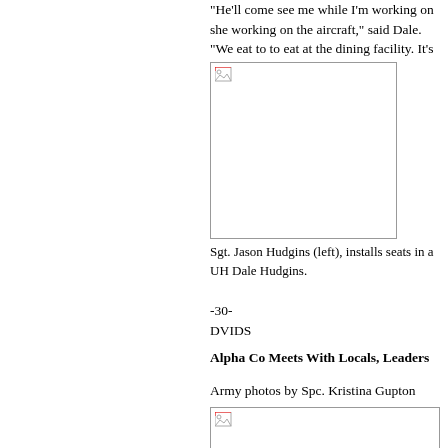“He’ll come see me while I’m working on she working on the aircraft,” said Dale. “We eat to to eat at the dining facility. It’s been nice to ha
[Figure (photo): Photo placeholder showing installed seats in a UH aircraft]
Sgt. Jason Hudgins (left), installs seats in a UH Dale Hudgins.
-30-
DVIDS
Alpha Co Meets With Locals, Leaders
Army photos by Spc. Kristina Gupton
[Figure (photo): Photo placeholder for Alpha Co meeting with locals and leaders]